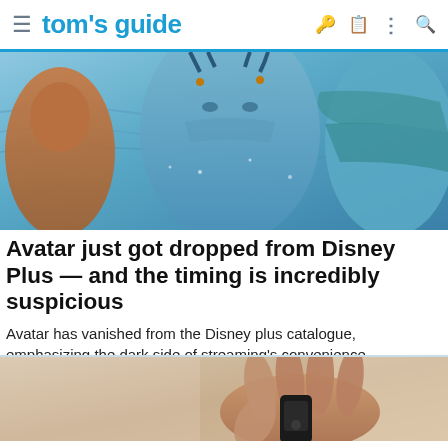tom's guide
[Figure (photo): Close-up of Avatar movie characters — blue alien figures in a cinematic scene]
Avatar just got dropped from Disney Plus — and the timing is incredibly suspicious
Avatar has vanished from the Disney plus catalogue, emphasizing the dark side of streaming's convenience.
Tom's Guide
[Figure (photo): Hand holding a small device or key fob, background is blurred indoor setting]